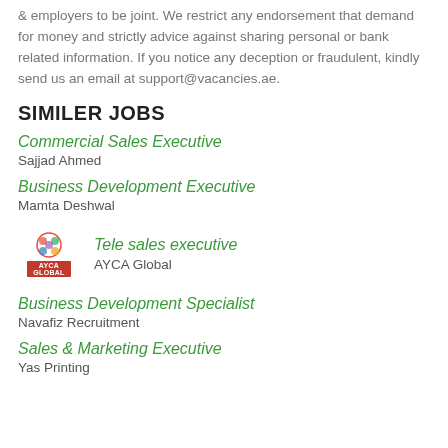& employers to be joint. We restrict any endorsement that demand for money and strictly advice against sharing personal or bank related information. If you notice any deception or fraudulent, kindly send us an email at support@vacancies.ae.
SIMILER JOBS
Commercial Sales Executive
Sajjad Ahmed
Business Development Executive
Mamta Deshwal
[Figure (logo): AYCA Global company logo with colorful circular design on top and red rectangle with white text below]
Tele sales executive
AYCA Global
Business Development Specialist
Navafiz Recruitment
Sales & Marketing Executive
Yas Printing